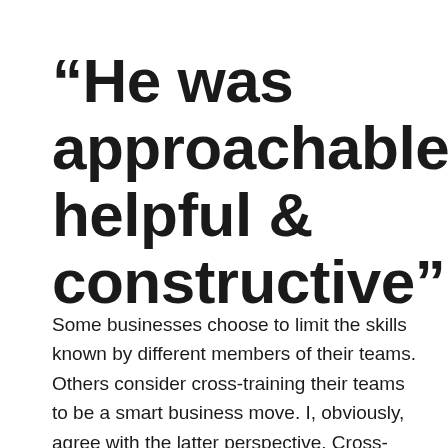“He was approachable, helpful & constructive”
Some businesses choose to limit the skills known by different members of their teams. Others consider cross-training their teams to be a smart business move. I, obviously, agree with the latter perspective. Cross-training not only